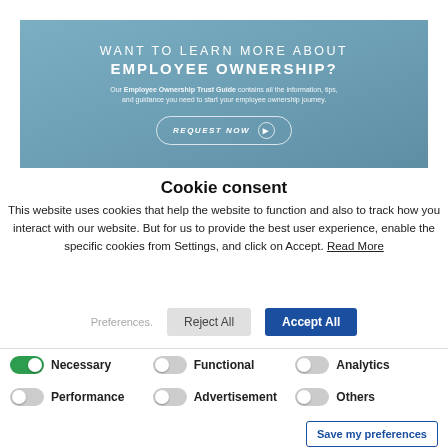GROUP
[Figure (infographic): Teal/blue banner with text: WANT TO LEARN MORE ABOUT EMPLOYEE OWNERSHIP? Our Employee Ownership Trust Guide contains all the information, tips, and guidance you need to start your employee ownership journey. REQUEST NOW button.]
Cookie consent
This website uses cookies that help the website to function and also to track how you interact with our website. But for us to provide the best user experience, enable the specific cookies from Settings, and click on Accept. Read More
Preferences.  Reject All  Accept All
Necessary  Functional  Analytics  Performance  Advertisement  Others